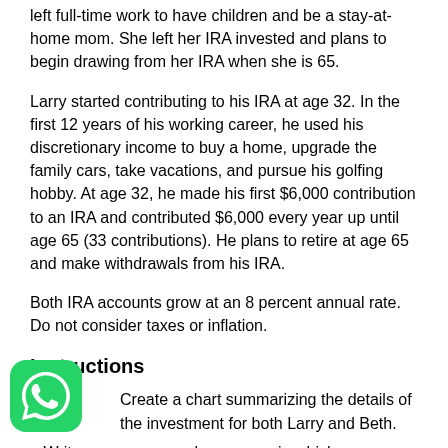left full-time work to have children and be a stay-at-home mom. She left her IRA invested and plans to begin drawing from her IRA when she is 65.
Larry started contributing to his IRA at age 32. In the first 12 years of his working career, he used his discretionary income to buy a home, upgrade the family cars, take vacations, and pursue his golfing hobby. At age 32, he made his first $6,000 contribution to an IRA and contributed $6,000 every year up until age 65 (33 contributions). He plans to retire at age 65 and make withdrawals from his IRA.
Both IRA accounts grow at an 8 percent annual rate. Do not consider taxes or inflation.
Instructions
Create a chart summarizing the details of the investment for both Larry and Beth.
Write a one-paragraph summary in which you explain